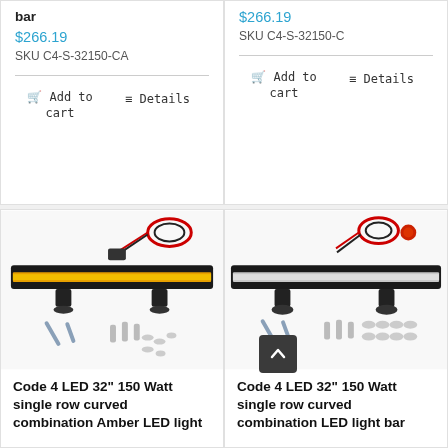bar
$266.19
SKU C4-S-32150-CA
Add to cart
Details
$266.19
SKU C4-S-32150-C
Add to cart
Details
[Figure (photo): LED light bar product photo with wiring harness and mounting hardware - Amber variant]
Code 4 LED 32" 150 Watt single row curved combination Amber LED light
[Figure (photo): LED light bar product photo with wiring harness and mounting hardware]
Code 4 LED 32" 150 Watt single row curved combination LED light bar